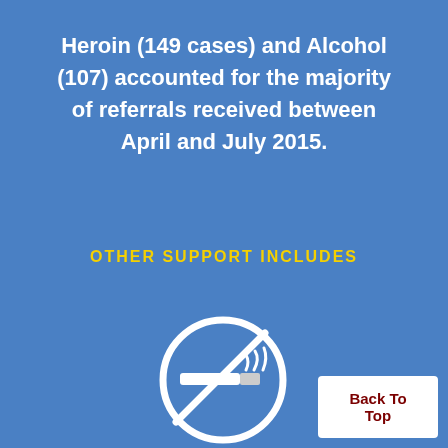Heroin (149 cases) and Alcohol (107) accounted for the majority of referrals received between April and July 2015.
OTHER SUPPORT INCLUDES
[Figure (illustration): No smoking sign icon — a white circle with a diagonal line through a cigarette with smoke, on blue background]
Back To Top